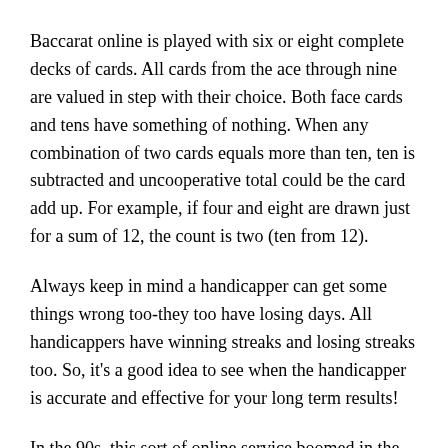Baccarat online is played with six or eight complete decks of cards. All cards from the ace through nine are valued in step with their choice. Both face cards and tens have something of nothing. When any combination of two cards equals more than ten, ten is subtracted and uncooperative total could be the card add up. For example, if four and eight are drawn just for a sum of 12, the count is two (ten from 12).
Always keep in mind a handicapper can get some things wrong too-they too have losing days. All handicappers have winning streaks and losing streaks too. So, it's a good idea to see when the handicapper is accurate and effective for your long term results!
In the 90s, this sort of online service boomed in the internet. They have gained a major number clients online many countries. [highlighted text] can now easy avail the services from online bookmarkers. Sport